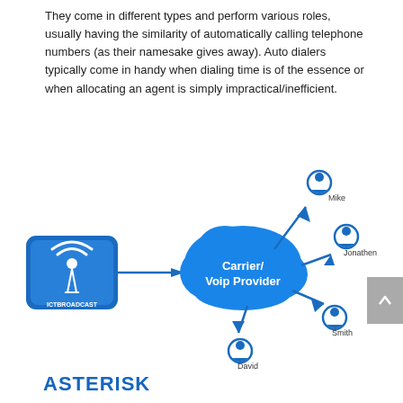They come in different types and perform various roles, usually having the similarity of automatically calling telephone numbers (as their namesake gives away). Auto dialers typically come in handy when dialing time is of the essence or when allocating an agent is simply impractical/inefficient.
[Figure (infographic): Diagram showing ICTBROADCAST logo on the left connected via arrow to a blue cloud labeled Carrier/Voip Provider in the center, which then has arrows pointing to four people icons labeled Mike (top right), Jonathen (right), Smith (lower right), and David (bottom).]
ASTERISK